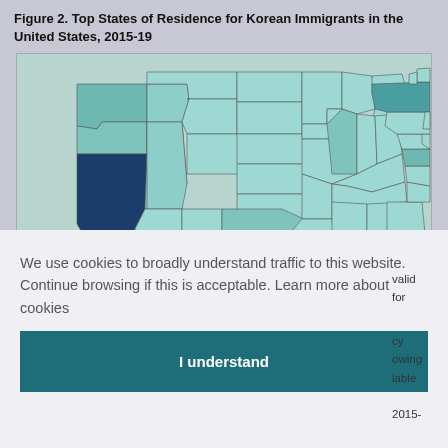Figure 2. Top States of Residence for Korean Immigrants in the United States, 2015-19
[Figure (map): Choropleth map of the United States showing the number of Korean immigrants by state, 2015-19. California is shaded darkest (navy/dark blue) indicating highest concentration (~318,000). Other states with medium-light teal shading include New York, Washington, Texas, Virginia, New Jersey, and Illinois. Most states are light teal. Legend shows gradient scale from 1,000 to 318,000 Number of Immigrants.]
We use cookies to broadly understand traffic to this website. Continue browsing if this is acceptable.  Learn more about cookies
I understand